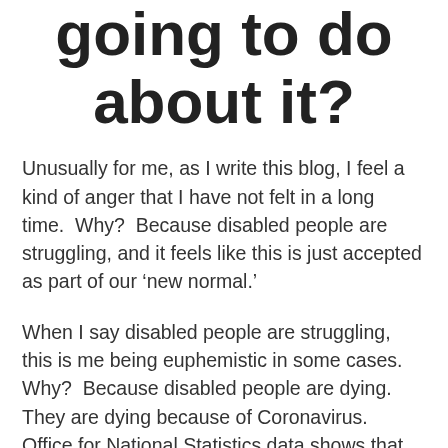going to do about it?
Unusually for me, as I write this blog, I feel a kind of anger that I have not felt in a long time.  Why?  Because disabled people are struggling, and it feels like this is just accepted as part of our ‘new normal.’
When I say disabled people are struggling, this is me being euphemistic in some cases.  Why?  Because disabled people are dying.  They are dying because of Coronavirus.  Office for National Statistics data shows that disabled people are at increased risk of death due to Coronavirus.  It